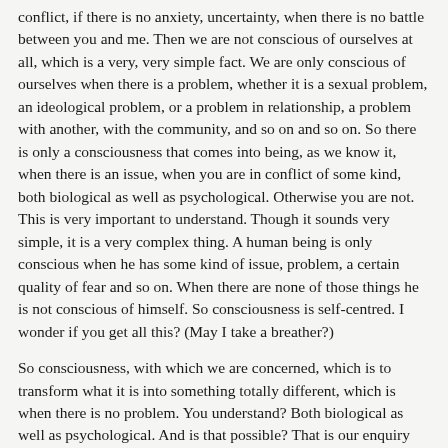conflict, if there is no anxiety, uncertainty, when there is no battle between you and me. Then we are not conscious of ourselves at all, which is a very, very simple fact. We are only conscious of ourselves when there is a problem, whether it is a sexual problem, an ideological problem, or a problem in relationship, a problem with another, with the community, and so on and so on. So there is only a consciousness that comes into being, as we know it, when there is an issue, when you are in conflict of some kind, both biological as well as psychological. Otherwise you are not. This is very important to understand. Though it sounds very simple, it is a very complex thing. A human being is only conscious when he has some kind of issue, problem, a certain quality of fear and so on. When there are none of those things he is not conscious of himself. So consciousness is self-centred. I wonder if you get all this? (May I take a breather?)
So consciousness, with which we are concerned, which is to transform what it is into something totally different, which is when there is no problem. You understand? Both biological as well as psychological. And is that possible? That is our enquiry for this morning.
This is a great thing to discover for oneself, that there is a totally different kind of consciousness - perhaps we won't even use that word consciousness - a different dimension which exists naturally, it